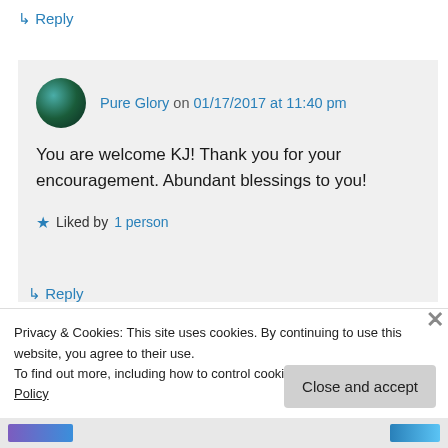↳ Reply
Pure Glory on 01/17/2017 at 11:40 pm
You are welcome KJ! Thank you for your encouragement. Abundant blessings to you!
★ Liked by 1 person
↳ Reply
Privacy & Cookies: This site uses cookies. By continuing to use this website, you agree to their use.
To find out more, including how to control cookies, see here: Cookie Policy
Close and accept